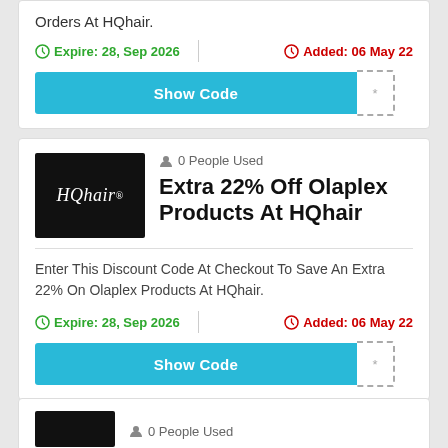Orders At HQhair.
Expire: 28, Sep 2026   Added: 06 May 22
Show Code
0 People Used
Extra 22% Off Olaplex Products At HQhair
Enter This Discount Code At Checkout To Save An Extra 22% On Olaplex Products At HQhair.
Expire: 28, Sep 2026   Added: 06 May 22
Show Code
0 People Used